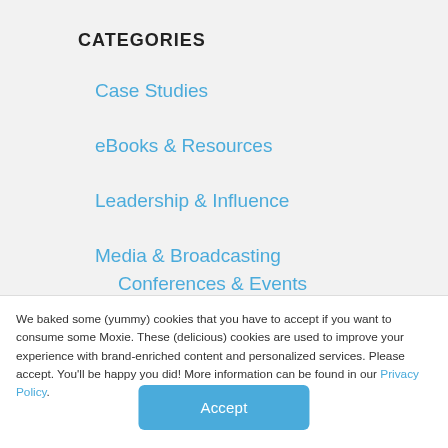CATEGORIES
Case Studies
eBooks & Resources
Leadership & Influence
Media & Broadcasting
Conferences & Events
Presentations & Public Speaking
Communication Skills
We baked some (yummy) cookies that you have to accept if you want to consume some Moxie. These (delicious) cookies are used to improve your experience with brand-enriched content and personalized services. Please accept. You'll be happy you did! More information can be found in our Privacy Policy.